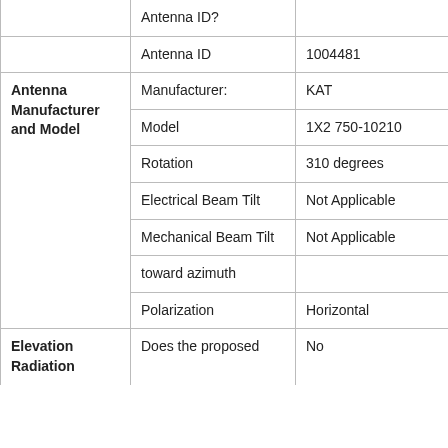|  | Antenna ID? |  |
|  | Antenna ID | 1004481 |
| Antenna Manufacturer and Model | Manufacturer: | KAT |
|  | Model | 1X2 750-10210 |
|  | Rotation | 310 degrees |
|  | Electrical Beam Tilt | Not Applicable |
|  | Mechanical Beam Tilt | Not Applicable |
|  | toward azimuth |  |
|  | Polarization | Horizontal |
| Elevation Radiation | Does the proposed | No |